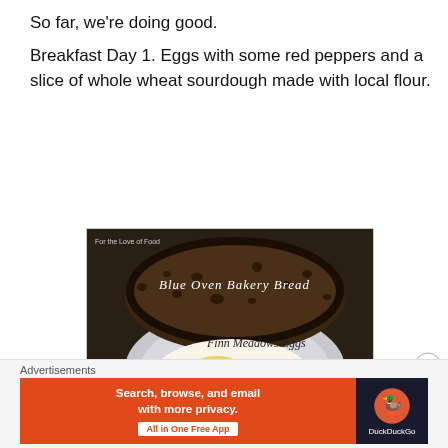So far, we're doing good.
Breakfast Day 1. Eggs with some red peppers and a slice of whole wheat sourdough made with local flour.
[Figure (photo): Photo of a plate with a slice of whole wheat sourdough bread (labeled 'Blue Oven Bakery Bread') on top, eggs with red peppers (labeled 'Finn Meadows Eggs' and 'Red peppers from my garden'). Text overlay: 'For the Love of Food']
[Figure (screenshot): DuckDuckGo advertisement banner: 'Search, browse, and email with more privacy. All in One Free App' with DuckDuckGo logo on right side.]